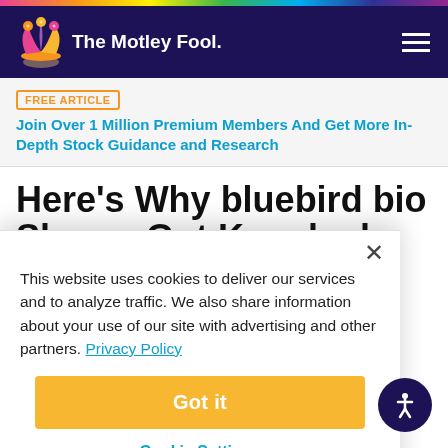The Motley Fool
FREE ARTICLE  Join Over 1 Million Premium Members And Get More In-Depth Stock Guidance and Research
Here's Why bluebird bio Shares Got Knocked Down 19.3% in December
This website uses cookies to deliver our services and to analyze traffic. We also share information about your use of our site with advertising and other partners. Privacy Policy
Got it
Cookie Settings